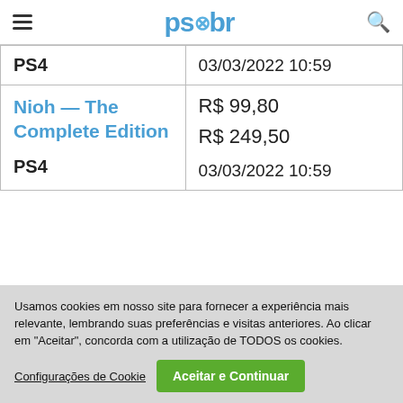ps×br
| PS4 | 03/03/2022 10:59 |
| Nioh — The Complete Edition
PS4 | R$ 99,80
R$ 249,50
03/03/2022 10:59 |
Usamos cookies em nosso site para fornecer a experiência mais relevante, lembrando suas preferências e visitas anteriores. Ao clicar em "Aceitar", concorda com a utilização de TODOS os cookies.
Configurações de Cookie
Aceitar e Continuar